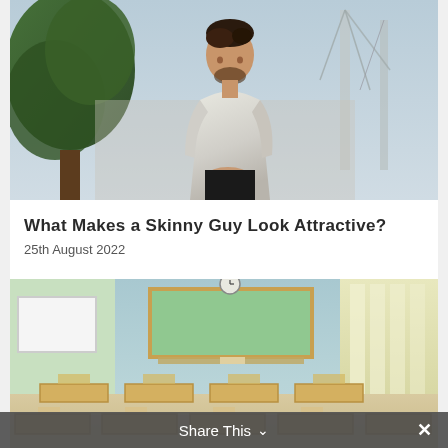[Figure (photo): Young man with beard wearing a light-colored sweatshirt, standing outdoors near a tree and bridge structure, looking at camera]
What Makes a Skinny Guy Look Attractive?
25th August 2022
[Figure (photo): Empty classroom interior with light blue walls, green chalkboard, clock on wall, white boards, rows of desks and chairs]
Share This ∨  ✕